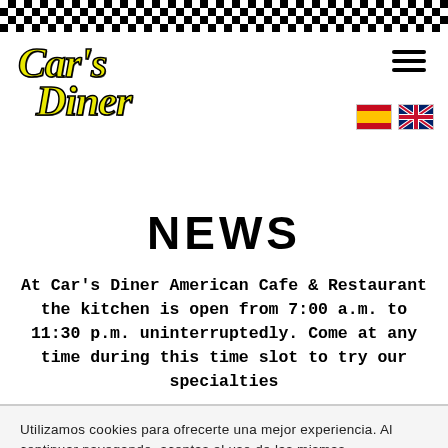[Figure (logo): Car's Diner logo in yellow italic script on white, with black checkerboard bar across top]
NEWS
At Car's Diner American Cafe & Restaurant the kitchen is open from 7:00 a.m. to 11:30 p.m. uninterruptedly. Come at any time during this time slot to try our specialties
Utilizamos cookies para ofrecerte una mejor experiencia. Al continuar navegando, aceptas el uso de las mismas.
Leer más   ACEPTAR